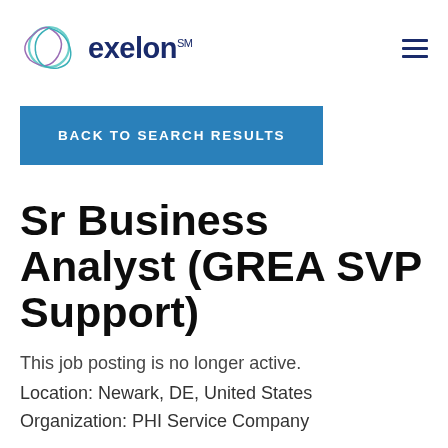[Figure (logo): Exelon logo with circular geometric icon and text 'exelon' in dark navy blue with SM superscript]
BACK TO SEARCH RESULTS
Sr Business Analyst (GREA SVP Support)
This job posting is no longer active.
Location: Newark, DE, United States
Organization: PHI Service Company